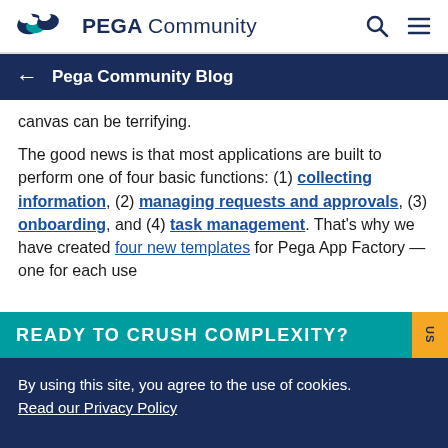PEGA Community
← Pega Community Blog
canvas can be terrifying.
The good news is that most applications are built to perform one of four basic functions: (1) collecting information, (2) managing requests and approvals, (3) onboarding, and (4) task management. That's why we have created four new templates for Pega App Factory — one for each use
READY TO CRUSH COMPLEXITY?
By using this site, you agree to the use of cookies. Read our Privacy Policy
Accept and continue
About cookies